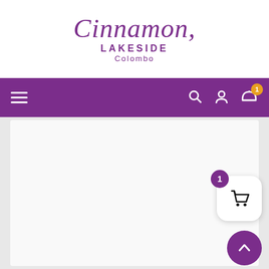[Figure (logo): Cinnamon Lakeside Colombo hotel logo with stylized script text in purple]
[Figure (screenshot): Purple navigation bar with hamburger menu on left and search, user, cart icons on right. Cart has orange badge showing count 1.]
[Figure (screenshot): Main content area (light gray/white) with floating cart button showing badge of 1 and a purple scroll-to-top button]